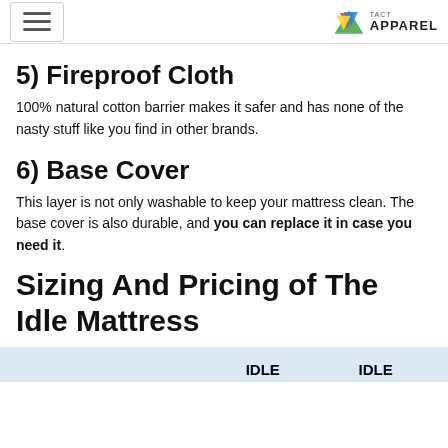[hamburger menu] [Tact Apparel logo]
5) Fireproof Cloth
100% natural cotton barrier makes it safer and has none of the nasty stuff like you find in other brands.
6) Base Cover
This layer is not only washable to keep your mattress clean. The base cover is also durable, and you can replace it in case you need it.
Sizing And Pricing of The Idle Mattress
|  | IDLE | IDLE |
| --- | --- | --- |